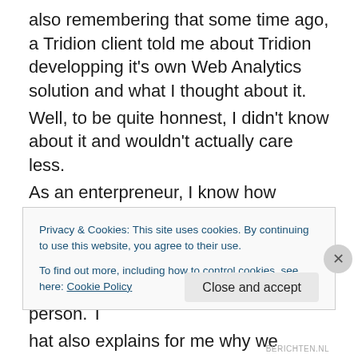also remembering that some time ago, a Tridion client told me about Tridion developping it's own Web Analytics solution and what I thought about it. Well, to be quite honnest, I didn't know about it and wouldn't actually care less. As an enterpreneur, I know how important it is to stick to what you know. For those who know me, it's quite obvious I'm the "best of breed" kind of person. T hat also explains for me why we chose for WebTrends in terms of Web Analytics solutions – amongst others such
Privacy & Cookies: This site uses cookies. By continuing to use this website, you agree to their use. To find out more, including how to control cookies, see here: Cookie Policy